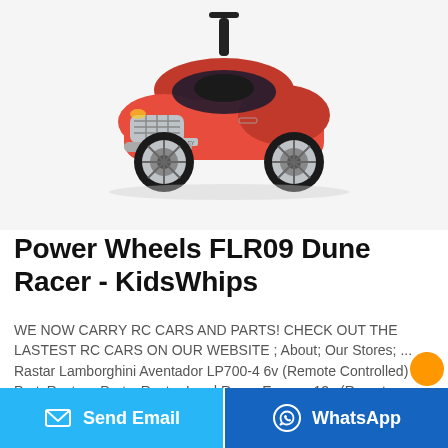[Figure (photo): Red children's ride-on push car styled like a Bentley luxury car, with a black handle/push bar on top, black seat, silver wheels, and chrome grille details]
Power Wheels FLR09 Dune Racer - KidsWhips
WE NOW CARRY RC CARS AND PARTS! CHECK OUT THE LASTEST RC CARS ON OUR WEBSITE ; About; Our Stores; ... Rastar Lamborghini Aventador LP700-4 6v (Remote Controlled) PartsRastar - Parts; Rastar Land Rover Evoque 12v (Remote